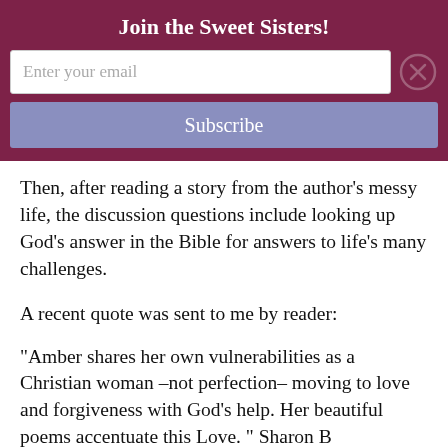Join the Sweet Sisters!
Then, after reading a story from the author’s messy life, the discussion questions include looking up God’s answer in the Bible for answers to life’s many challenges.
A recent quote was sent to me by reader:
“Amber shares her own vulnerabilities as a Christian woman –not perfection– moving to love and forgiveness with God’s help. Her beautiful poems accentuate this Love. ” Sharon B...